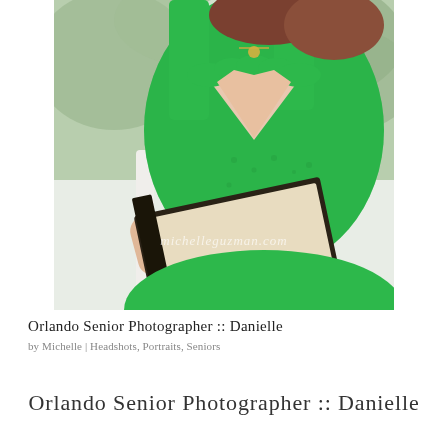[Figure (photo): A young woman in a green lace dress sitting and holding an open book, photographed outdoors with soft background foliage. Watermark text 'michelleguzman.com' appears on the lower portion of the image.]
Orlando Senior Photographer :: Danielle
by Michelle | Headshots, Portraits, Seniors
Orlando Senior Photographer :: Danielle